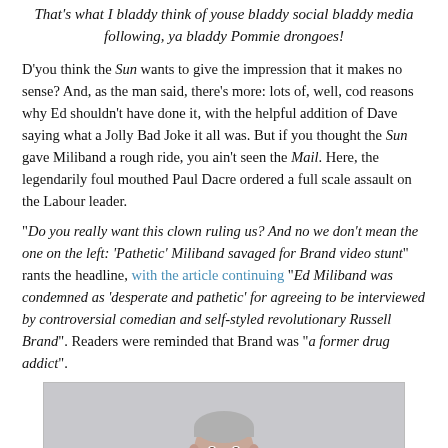That's what I bladdy think of youse bladdy social bladdy media following, ya bladdy Pommie drongoes!
D'you think the Sun wants to give the impression that it makes no sense? And, as the man said, there's more: lots of, well, cod reasons why Ed shouldn't have done it, with the helpful addition of Dave saying what a Jolly Bad Joke it all was. But if you thought the Sun gave Miliband a rough ride, you ain't seen the Mail. Here, the legendarily foul mouthed Paul Dacre ordered a full scale assault on the Labour leader.
"Do you really want this clown ruling us? And no we don't mean the one on the left: 'Pathetic' Miliband savaged for Brand video stunt" rants the headline, with the article continuing "Ed Miliband was condemned as 'desperate and pathetic' for agreeing to be interviewed by controversial comedian and self-styled revolutionary Russell Brand". Readers were reminded that Brand was "a former drug addict".
[Figure (photo): A man in a dark suit sitting, photographed from the chest up against a light grey background.]